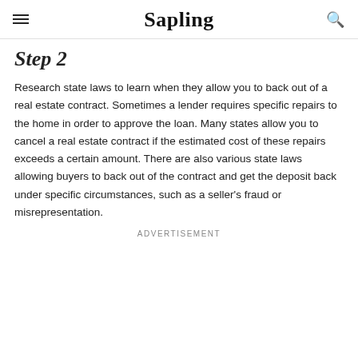Sapling
Step 2
Research state laws to learn when they allow you to back out of a real estate contract. Sometimes a lender requires specific repairs to the home in order to approve the loan. Many states allow you to cancel a real estate contract if the estimated cost of these repairs exceeds a certain amount. There are also various state laws allowing buyers to back out of the contract and get the deposit back under specific circumstances, such as a seller's fraud or misrepresentation.
Advertisement